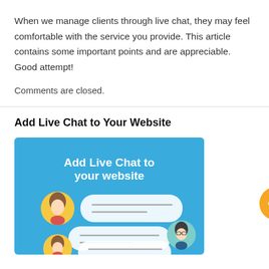When we manage clients through live chat, they may feel comfortable with the service you provide. This article contains some important points and are appreciable. Good attempt!
Comments are closed.
Add Live Chat to Your Website
[Figure (illustration): Blue illustrated banner showing 'Add Live Chat to your website' text in white bold font, with cartoon avatar icons and white speech bubble shapes depicting a live chat interface. An orange circular chat button icon appears to the right side.]